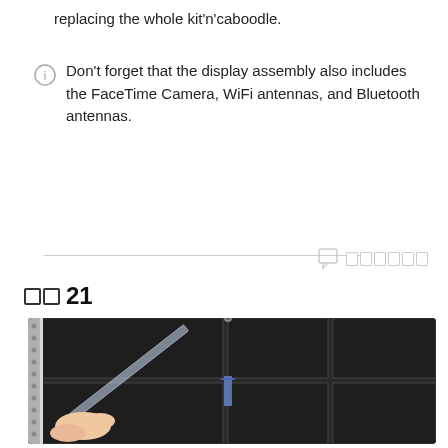replacing the whole kit'n'caboodle.
Don't forget that the display assembly also includes the FaceTime Camera, WiFi antennas, and Bluetooth antennas.
步骤 21
[Figure (photo): Hands using an iFixit spudger/tool to work on a laptop battery or display component, showing black rectangular battery cells and a metal frame with the iFixit branded tool being applied to a corner.]